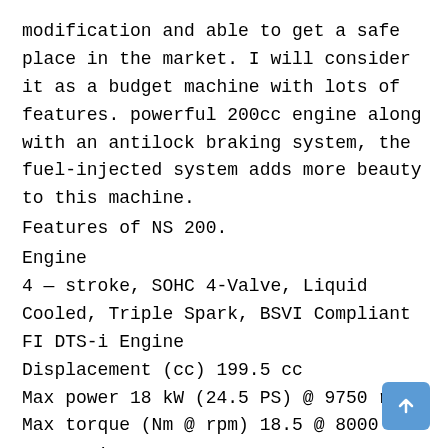modification and able to get a safe place in the market. I will consider it as a budget machine with lots of features. powerful 200cc engine along with an antilock braking system, the fuel-injected system adds more beauty to this machine.
Features of NS 200.
Engine
4 — stroke, SOHC 4-Valve, Liquid Cooled, Triple Spark, BSVI Compliant FI DTS-i Engine
Displacement (cc) 199.5 cc
Max power 18 kW (24.5 PS) @ 9750 rpm
Max torque (Nm @ rpm) 18.5 @ 8000
Suspension
Front Telescopic with Anti-friction Bush
Rear Nitrox mono shock absorber with Canister
Brakes front Single Channel ABS 300 mm